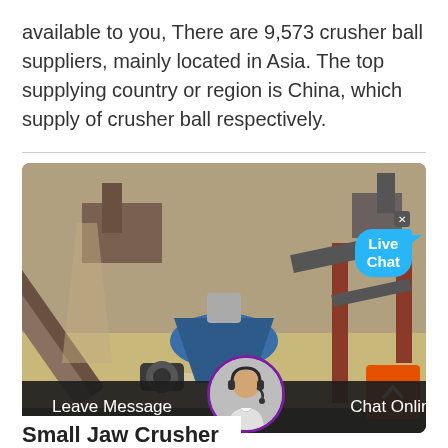available to you, There are 9,573 crusher ball suppliers, mainly located in Asia. The top supplying country or region is China, which supply of crusher ball respectively.
[Figure (photo): Industrial crusher/ball mill machinery at an outdoor industrial site, showing conveyor belts, a blue cone crusher, and metal frame structures. A 'Live Chat' bubble is overlaid in the top-right area with a close (x) button. An orange scroll-up arrow button is at the bottom right.]
Leave Message   Chat Online
Small Jaw Crusher